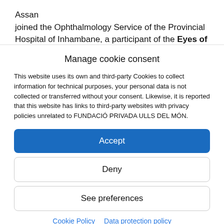Assan
joined the Ophthalmology Service of the Provincial Hospital of Inhambane, a participant of the Eyes of Mozambique program.
Manage cookie consent
This website uses its own and third-party Cookies to collect information for technical purposes, your personal data is not collected or transferred without your consent. Likewise, it is reported that this website has links to third-party websites with privacy policies unrelated to FUNDACIÓ PRIVADA ULLS DEL MÓN.
Accept
Deny
See preferences
Cookie Policy  Data protection policy